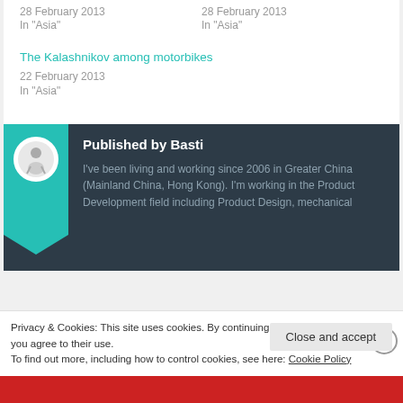28 February 2013
In "Asia"
28 February 2013
In "Asia"
The Kalashnikov among motorbikes
22 February 2013
In "Asia"
Published by Basti
I've been living and working since 2006 in Greater China (Mainland China, Hong Kong). I'm working in the Product Development field including Product Design, mechanical
Privacy & Cookies: This site uses cookies. By continuing to use this website, you agree to their use.
To find out more, including how to control cookies, see here: Cookie Policy
Close and accept